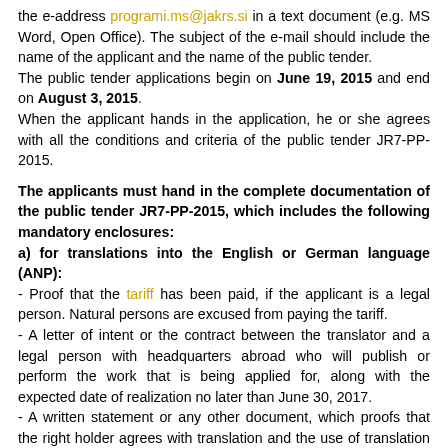the e-address programi.ms@jakrs.si in a text document (e.g. MS Word, Open Office). The subject of the e-mail should include the name of the applicant and the name of the public tender.
The public tender applications begin on June 19, 2015 and end on August 3, 2015.
When the applicant hands in the application, he or she agrees with all the conditions and criteria of the public tender JR7-PP-2015.
The applicants must hand in the complete documentation of the public tender JR7-PP-2015, which includes the following mandatory enclosures:
a) for translations into the English or German language (ANP):
- Proof that the tariff has been paid, if the applicant is a legal person. Natural persons are excused from paying the tariff.
- A letter of intent or the contract between the translator and a legal person with headquarters abroad who will publish or perform the work that is being applied for, along with the expected date of realization no later than June 30, 2017.
- A written statement or any other document, which proofs that the right holder agrees with translation and the use of translation as stated in the public tender.